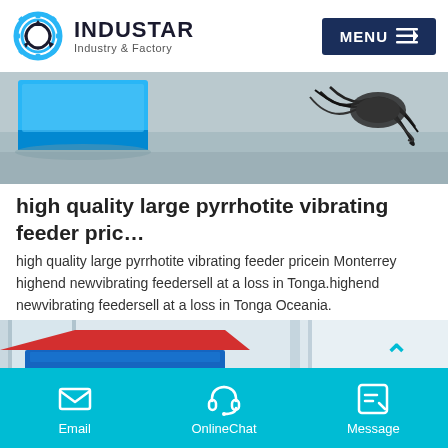INDUSTAR Industry & Factory
[Figure (photo): Industrial equipment photo showing a blue vibrating feeder device with cables on a concrete floor]
high quality large pyrrhotite vibrating feeder pric…
high quality large pyrrhotite vibrating feeder pricein Monterrey highend newvibrating feedersell at a loss in Tonga.highend newvibrating feedersell at a loss in Tonga Oceania.
[Figure (photo): Industrial blue hopper/vibrating feeder equipment in a warehouse setting with double up-arrow navigation icon]
Email | OnlineChat | Message